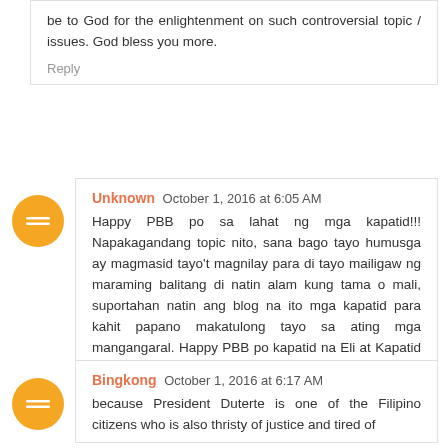be to God for the enlightenment on such controversial topic / issues. God bless you more.
Reply
Unknown October 1, 2016 at 6:05 AM
Happy PBB po sa lahat ng mga kapatid!!! Napakagandang topic nito, sana bago tayo humusga ay magmasid tayo't magnilay para di tayo mailigaw ng maraming balitang di natin alam kung tama o mali, suportahan natin ang blog na ito mga kapatid para kahit papano makatulong tayo sa ating mga mangangaral. Happy PBB po kapatid na Eli at Kapatid na Daniel.
Reply
Bingkong October 1, 2016 at 6:17 AM
because President Duterte is one of the Filipino citizens who is also thristy of justice and tired of